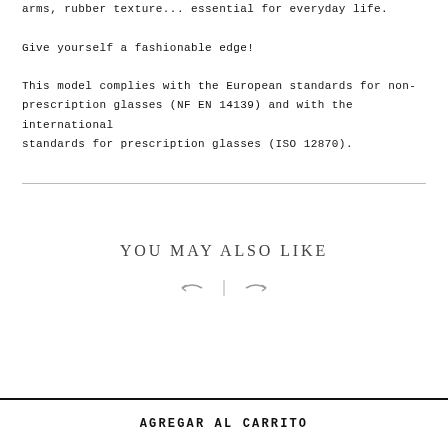High quality, lightweight, comfortable reading glasses. Flexible arms, rubber texture... essential for everyday life.

Give yourself a fashionable edge!

This model complies with the European standards for non-prescription glasses (NF EN 14139) and with the international standards for prescription glasses (ISO 12870).
YOU MAY ALSO LIKE
[Figure (other): Left and right navigation arrows separated by a vertical pipe]
AGREGAR AL CARRITO